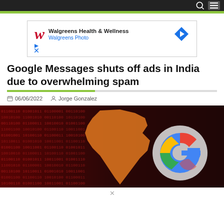Navigation bar with search and menu icons
[Figure (advertisement): Walgreens Health & Wellness / Walgreens Photo advertisement with red cursive W logo and blue navigation arrow icon]
Google Messages shuts off ads in India due to overwhelming spam
06/06/2022   Jorge Gonzalez
[Figure (photo): Banner image showing a dark red digital binary code background with an orange map of India and a Google 'G' logo on the right side]